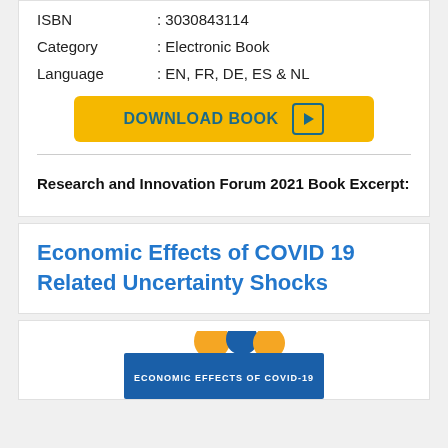| ISBN | : 3030843114 |
| Category | : Electronic Book |
| Language | : EN, FR, DE, ES & NL |
[Figure (other): Yellow download button with text DOWNLOAD BOOK and a play/arrow icon]
Research and Innovation Forum 2021 Book Excerpt:
Economic Effects of COVID 19 Related Uncertainty Shocks
[Figure (photo): Book cover thumbnail for Economic Effects of COVID-19 with orange and blue circular icons]